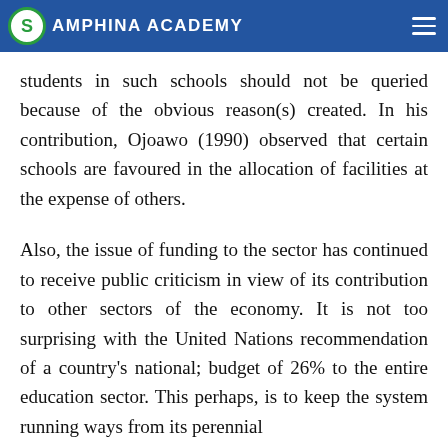AMPHINA ACADEMY
schools due to political reasons, lack of funds or for any other reasons. Then, academic performance of students in such schools should not be queried because of the obvious reason(s) created. In his contribution, Ojoawo (1990) observed that certain schools are favoured in the allocation of facilities at the expense of others.
Also, the issue of funding to the sector has continued to receive public criticism in view of its contribution to other sectors of the economy. It is not too surprising with the United Nations recommendation of a country's national; budget of 26% to the entire education sector. This perhaps, is to keep the system running ways from its perennial